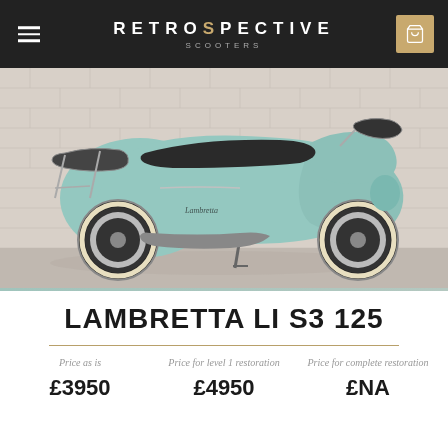RETROSPECTIVE SCOOTERS
[Figure (photo): Side profile of a mint/light blue Lambretta LI S3 125 scooter parked against a white brick wall, with cream/whitewall tires, chrome rack, and dual seat]
LAMBRETTA LI S3 125
Price as is | Price for level 1 restoration | Price for complete restoration
£3950 | £4950 | £NA